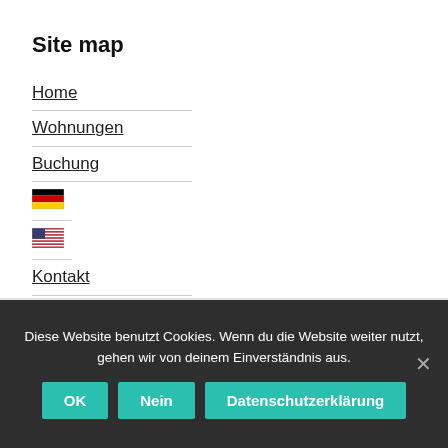Site map
Home
Wohnungen
Buchung
[Figure (illustration): German flag icon]
[Figure (illustration): US flag icon]
Kontakt
Datenschutzerklärung
Impressum
Buchungsbedingungen
Diese Website benutzt Cookies. Wenn du die Website weiter nutzt, gehen wir von deinem Einverständnis aus.